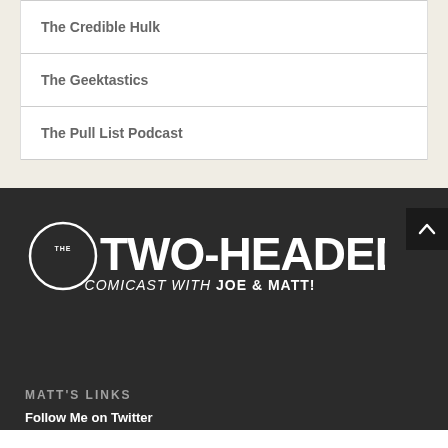The Credible Hulk
The Geektastics
The Pull List Podcast
[Figure (logo): The Two-Headed Nerd Comicast with Joe & Matt! logo — white text on dark background with circular THE badge]
MATT'S LINKS
Follow Me on Twitter